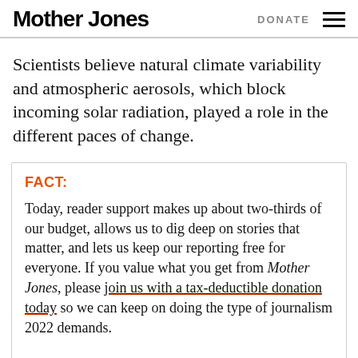Mother Jones  DONATE
Scientists believe natural climate variability and atmospheric aerosols, which block incoming solar radiation, played a role in the different paces of change.
FACT:
Today, reader support makes up about two-thirds of our budget, allows us to dig deep on stories that matter, and lets us keep our reporting free for everyone. If you value what you get from Mother Jones, please join us with a tax-deductible donation today so we can keep on doing the type of journalism 2022 demands.